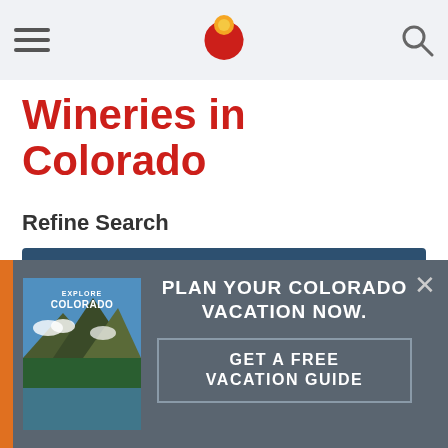Colorado Tourism website header with hamburger menu, Colorado C logo, and search icon
Wineries in Colorado
Refine Search
Regions +
Cities +
[Figure (screenshot): Advertisement overlay: Explore Colorado vacation guide book cover image alongside text 'PLAN YOUR COLORADO VACATION NOW.' with a 'GET A FREE VACATION GUIDE' call-to-action button]
PLAN YOUR COLORADO VACATION NOW.
GET A FREE VACATION GUIDE